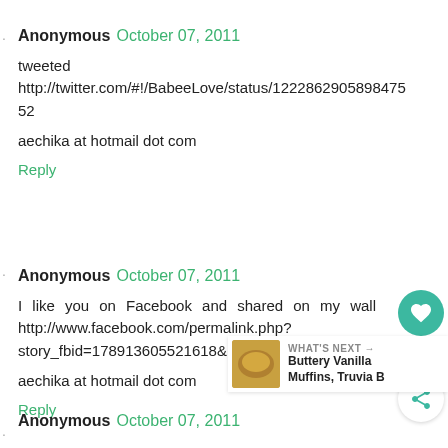Anonymous October 07, 2011
tweeted http://twitter.com/#!/BabeeLove/status/12228629058984752
aechika at hotmail dot com
Reply
Anonymous October 07, 2011
I like you on Facebook and shared on my wall http://www.facebook.com/permalink.php?story_fbid=178913605521618&id=271204862911699
aechika at hotmail dot com
Reply
Anonymous October 07, 2011